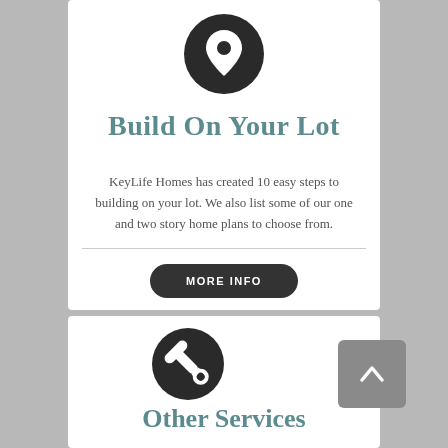[Figure (illustration): Dark circle with white location pin icon]
Build On Your Lot
KeyLife Homes has created 10 easy steps to building on your lot. We also list some of our one and two story home plans to choose from.
[Figure (illustration): MORE INFO button - dark rounded rectangle with white text]
[Figure (illustration): Dark circle with white wrench/tools icon]
Other Services
[Figure (illustration): Gray square button with upward chevron arrow]